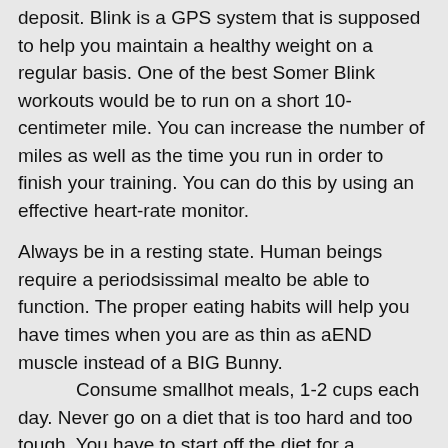deposit. Blink is a GPS system that is supposed to help you maintain a healthy weight on a regular basis. One of the best Somer Blink workouts would be to run on a short 10-centimeter mile. You can increase the number of miles as well as the time you run in order to finish your training. You can do this by using an effective heart-rate monitor.
Always be in a resting state. Human beings require a periodsissimal mealto be able to function. The proper eating habits will help you have times when you are as thin as aEND muscle instead of a BIG Bunny. Consume smallhot meals, 1-2 cups each day. Never go on a diet that is too hard and too tough. You have to start off the diet for a healthier body and you have to keep it up for at least 3 months before you can go on a diet proper.
The perfect timing of a training session is important if you want to get results. His will be times when you can make the most gain in a short period of time. If you